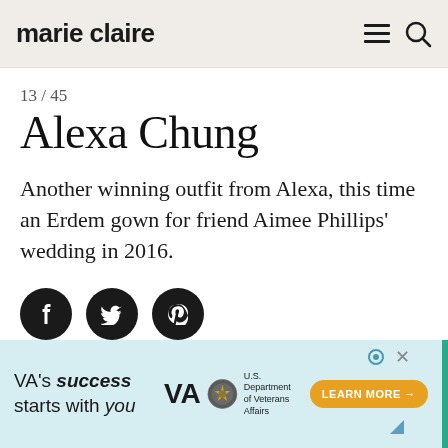marie claire
13 / 45
Alexa Chung
Another winning outfit from Alexa, this time an Erdem gown for friend Aimee Phillips' wedding in 2016.
[Figure (other): Social sharing buttons: Facebook, Twitter, Pinterest]
[Figure (other): Advertisement banner: VA's success starts with you. U.S. Department of Veterans Affairs. #WorkAtVA]